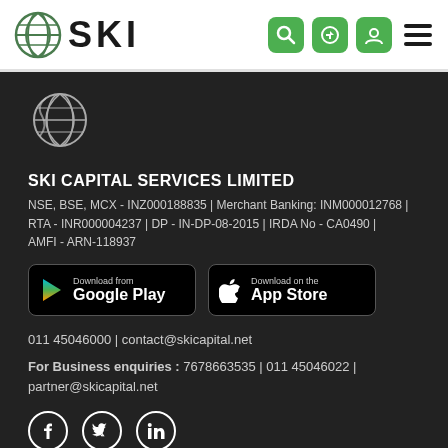[Figure (logo): SKI Capital Services logo with globe icon and SKI text in header navigation bar]
[Figure (logo): SKI globe logo (dark theme) in footer section]
SKI CAPITAL SERVICES LIMITED
NSE, BSE, MCX - INZ000188835 | Merchant Banking: INM000012768 | RTA - INR000004237 | DP - IN-DP-08-2015 | IRDA No - CA0490 | AMFI - ARN-118937
[Figure (screenshot): Download from Google Play button (black badge)]
[Figure (screenshot): Download on the App Store button (black badge)]
011 45046000 | contact@skicapital.net
For Business enquiries : 7678663535 | 011 45046022 | partner@skicapital.net
[Figure (illustration): Social media icons: Facebook, Twitter/X, LinkedIn (white circle outlines on dark background)]